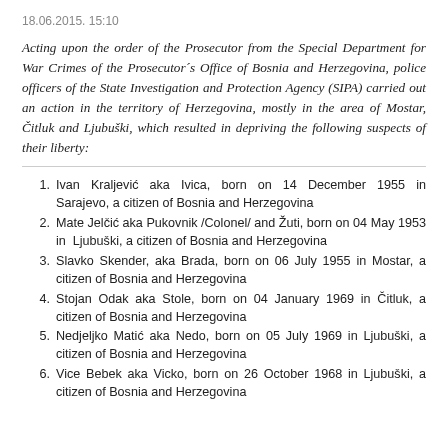18.06.2015. 15:10
Acting upon the order of the Prosecutor from the Special Department for War Crimes of the Prosecutor's Office of Bosnia and Herzegovina, police officers of the State Investigation and Protection Agency (SIPA) carried out an action in the territory of Herzegovina, mostly in the area of Mostar, Čitluk and Ljubuški, which resulted in depriving the following suspects of their liberty:
Ivan Kraljević aka Ivica, born on 14 December 1955 in Sarajevo, a citizen of Bosnia and Herzegovina
Mate Jelčić aka Pukovnik /Colonel/ and Žuti, born on 04 May 1953 in Ljubuški, a citizen of Bosnia and Herzegovina
Slavko Skender, aka Brada, born on 06 July 1955 in Mostar, a citizen of Bosnia and Herzegovina
Stojan Odak aka Stole, born on 04 January 1969 in Čitluk, a citizen of Bosnia and Herzegovina
Nedjeljko Matić aka Nedo, born on 05 July 1969 in Ljubuški, a citizen of Bosnia and Herzegovina
Vice Bebek aka Vicko, born on 26 October 1968 in Ljubuški, a citizen of Bosnia and Herzegovina